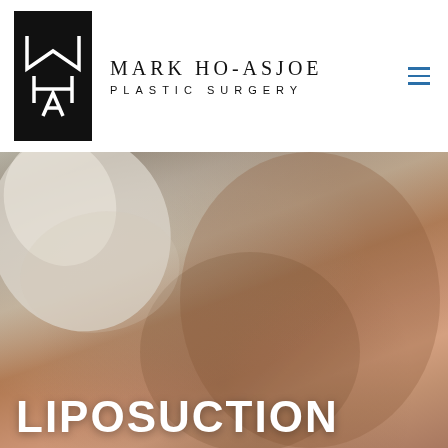[Figure (logo): Mark Ho-Asjoe Plastic Surgery logo — black rectangle with stylized MHA monogram in white, beside the text MARK HO-ASJOE PLASTIC SURGERY and a hamburger menu icon in blue]
[Figure (photo): Close-up photo of a person's torso and hip area wearing a white top and rose/terracotta bikini bottom, with hands visible. Hero image for Liposuction page.]
LIPOSUCTION